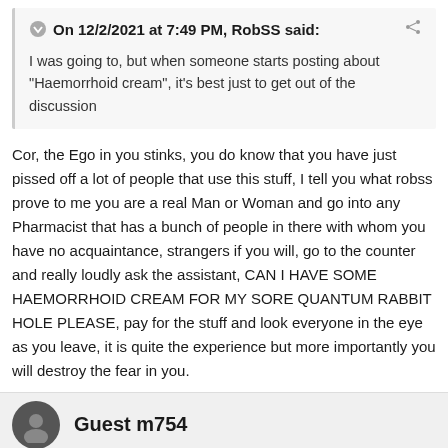On 12/2/2021 at 7:49 PM, RobSS said:
I was going to, but when someone starts posting about "Haemorrhoid cream", it's best just to get out of the discussion
Cor, the Ego in you stinks, you do know that you have just pissed off a lot of people that use this stuff, I tell you what robss prove to me you are a real Man or Woman and go into any Pharmacist that has a bunch of people in there with whom you have no acquaintance, strangers if you will, go to the counter and really loudly ask the assistant, CAN I HAVE SOME HAEMORRHOID CREAM FOR MY SORE QUANTUM RABBIT HOLE PLEASE, pay for the stuff and look everyone in the eye as you leave, it is quite the experience but more importantly you will destroy the fear in you.
Quote
Guest m754